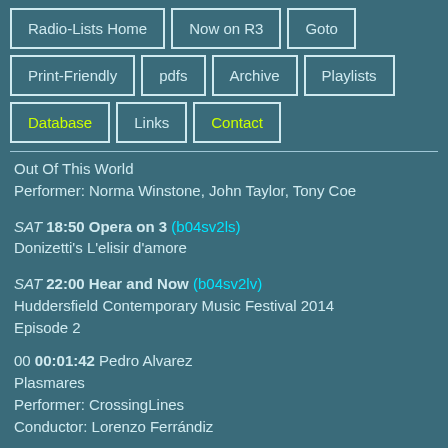Radio-Lists Home
Now on R3
Goto
Print-Friendly
pdfs
Archive
Playlists
Database
Links
Contact
Out Of This World
Performer: Norma Winstone, John Taylor, Tony Coe
SAT 18:50 Opera on 3 (b04sv2ls)
Donizetti's L'elisir d'amore
SAT 22:00 Hear and Now (b04sv2lv)
Huddersfield Contemporary Music Festival 2014
Episode 2
00 00:01:42 Pedro Alvarez
Plasmares
Performer: CrossingLines
Conductor: Lorenzo Ferrándiz